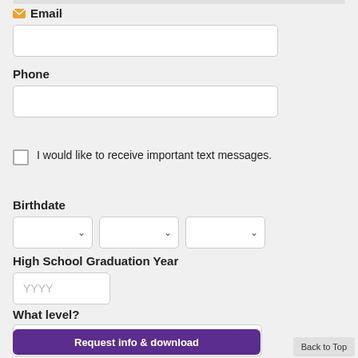Email
[Figure (other): Email input field (empty)]
Phone
[Figure (other): Phone input field (empty)]
I would like to receive important text messages.
Birthdate
[Figure (other): Three dropdown selectors for birthdate (month, day, year)]
High School Graduation Year
[Figure (other): Text input field with placeholder YYYY]
What level?
[Figure (other): Dropdown selector for level]
Request info & download
Back to Top